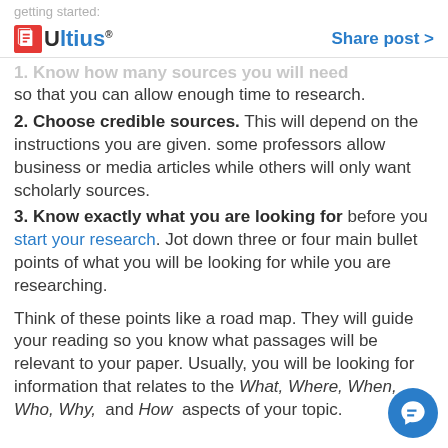getting started:
Ultius | Share post >
1. Know how many sources you will need so that you can allow enough time to research.
2. Choose credible sources. This will depend on the instructions you are given. some professors allow business or media articles while others will only want scholarly sources.
3. Know exactly what you are looking for before you start your research. Jot down three or four main bullet points of what you will be looking for while you are researching.
Think of these points like a road map. They will guide your reading so you know what passages will be relevant to your paper. Usually, you will be looking for information that relates to the What, Where, When, Who, Why, and How aspects of your topic.